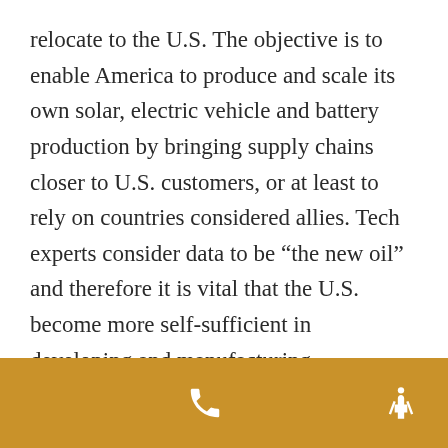relocate to the U.S. The objective is to enable America to produce and scale its own solar, electric vehicle and battery production by bringing supply chains closer to U.S. customers, or at least to rely on countries considered allies. Tech experts consider data to be “the new oil” and therefore it is vital that the U.S. become more self-sufficient in developing and manufacturing semiconductor technology.
[Figure (infographic): Golden/amber colored footer bar with a white phone icon on the left-center and a white accessibility/person icon on the right.]